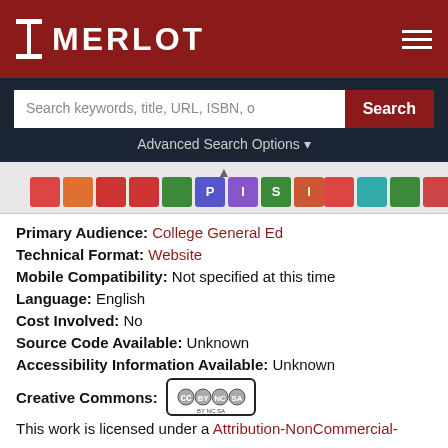MERLOT
Search keywords, title, URL, ISBN, o  Search
Advanced Search Options
[Figure (screenshot): Two groups of colored icon badges representing MERLOT content type categories]
Primary Audience: College General Ed
Technical Format: Website
Mobile Compatibility: Not specified at this time
Language: English
Cost Involved: No
Source Code Available: Unknown
Accessibility Information Available: Unknown
Creative Commons:
[Figure (logo): Creative Commons BY NC SA license badge]
This work is licensed under a Attribution-NonCommercial-